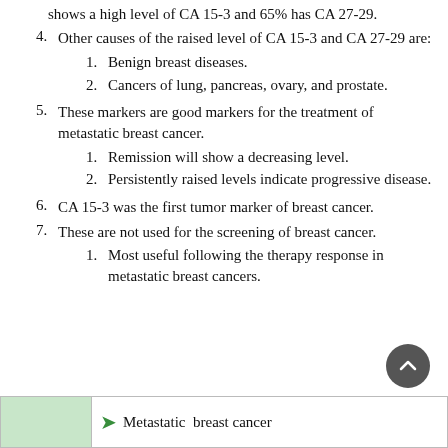(partial) shows a high level of CA 15-3 and 65% has CA 27-29.
4. Other causes of the raised level of CA 15-3 and CA 27-29 are:
1. Benign breast diseases.
2. Cancers of lung, pancreas, ovary, and prostate.
5. These markers are good markers for the treatment of metastatic breast cancer.
1. Remission will show a decreasing level.
2. Persistently raised levels indicate progressive disease.
6. CA 15-3 was the first tumor marker of breast cancer.
7. These are not used for the screening of breast cancer.
1. Most useful following the therapy response in metastatic breast cancers.
Metastatic breast cancer